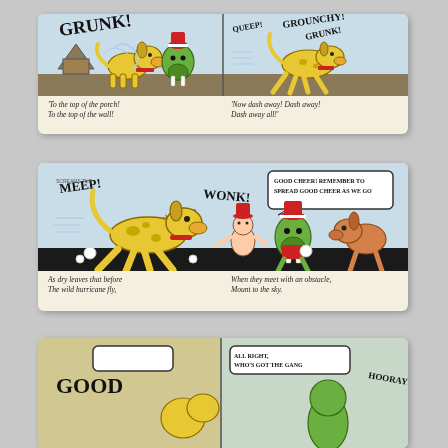[Figure (illustration): Comic strip panel 1: Yellow cartoon dog reacting to 'GRUNK!' sound while a green walrus-like creature appears. Left panel shows dog startled near doghouse, right panel shows dog running with sound effects 'QUEEP! GROUNCHY! GRUNK!']
'To the top of the porch! To the top of the wall!'
'Now dash away! Dash away! Dash away all!'
[Figure (illustration): Comic strip panel 2: Yellow spotted dog running with sound effects 'MEEP!' and 'WONK!' and 'Pokapockatpocka'. A small character and green creature and orange dog follow. Speech bubble: 'GOOD CHEER! REMEMBER TO SPREAD GOOD CHEER AS WE GO']
As dry leaves that before The wild hurricane fly,
When they meet with an obstacle, Mount to the sky.
[Figure (illustration): Comic strip panel 3 (partial): Shows beginning of another comic page with 'GOOD' visible and 'ALL RIGHT, WHO'S GOT THE GANG' text, partially cut off at bottom of page.]